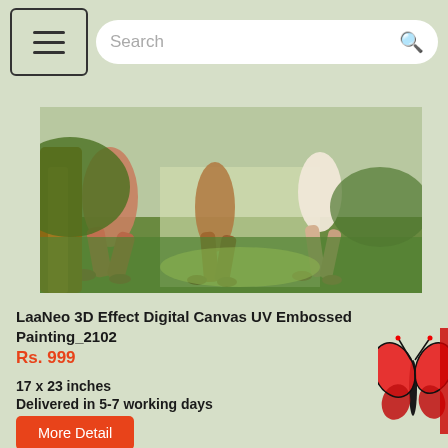[Figure (screenshot): Top navigation bar with hamburger menu button and search bar on green background]
[Figure (photo): Classical painting showing figures running on grass - lower portion of painting showing legs and feet]
LaaNeo 3D Effect Digital Canvas UV Embossed Painting_2102
Rs. 999
17 x 23 inches
Delivered in 5-7 working days
[Figure (illustration): Red butterfly illustration on right side]
More Detail
[Figure (photo): Autumn landscape painting with orange pine trees and snow-capped rooftops in a village setting]